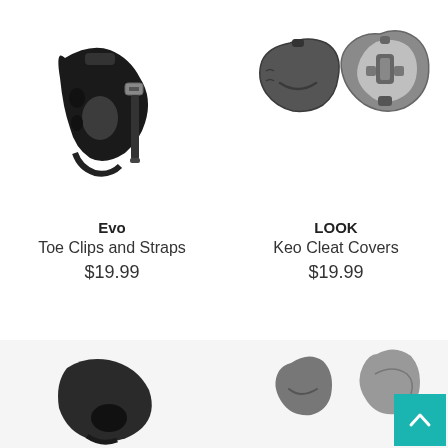[Figure (photo): Black toe clips and straps bicycle accessory]
Evo
Toe Clips and Straps
$19.99
[Figure (photo): LOOK Keo Cleat Covers, two grey plastic cycling cleats shown from top and bottom]
LOOK
Keo Cleat Covers
$19.99
[Figure (photo): Partial bottom row left product image (cropped)]
[Figure (photo): Partial bottom row right product image (cropped)]